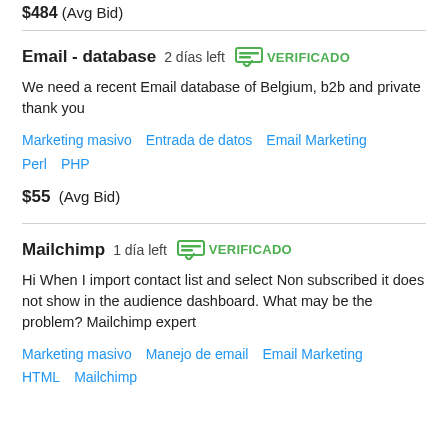$484 (Avg Bid)
Email - database  2 días left  VERIFICADO
We need a recent Email database of Belgium, b2b and private thank you
Marketing masivo   Entrada de datos   Email Marketing   Perl   PHP
$55  (Avg Bid)
Mailchimp  1 día left  VERIFICADO
Hi When I import contact list and select Non subscribed it does not show in the audience dashboard. What may be the problem? Mailchimp expert
Marketing masivo   Manejo de email   Email Marketing   HTML   Mailchimp